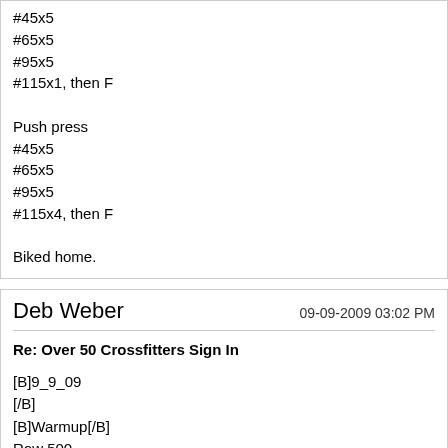#45x5
#65x5
#95x5
#115x1, then F

Push press
#45x5
#65x5
#95x5
#115x4, then F

Biked home.
Deb Weber
09-09-2009 03:02 PM
Re: Over 50 Crossfitters Sign In
[B]9_9_09
[/B]
[B]Warmup[/B]
Row 500
Situp, Squat, Pushup, Back Ext - 20

[B]WOD:[/B]
Complete as many rounds as possible in 20 minutes of:

21 deadlifts - 135# (95#)
15 kettlebell swings - 24kg (16kg)
9 handstand push-ups